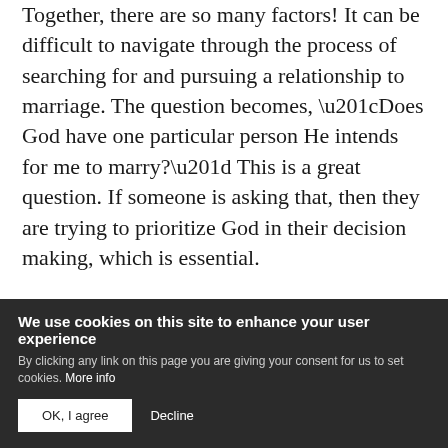Together, there are so many factors! It can be difficult to navigate through the process of searching for and pursuing a relationship to marriage. The question becomes, “Does God have one particular person He intends for me to marry?” This is a great question. If someone is asking that, then they are trying to prioritize God in their decision making, which is essential.

The Bible does not directly answer the question for us individually, but there are examples and principles we can apply. For instance, take a few minutes to read the God-led love story between Isaac and Rebekah in Genesis 24. It was clear that
We use cookies on this site to enhance your user experience
By clicking any link on this page you are giving your consent for us to set cookies. More info
OK, I agree   Decline